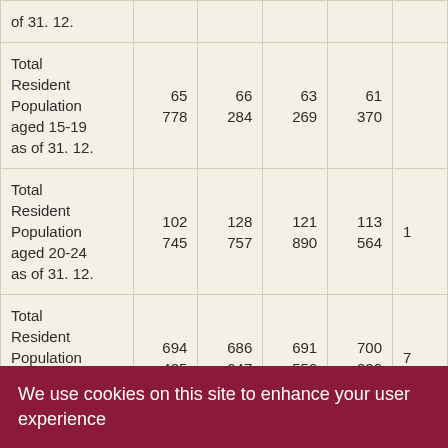| of 31. 12. |  |  |  |  |
| Total Resident Population aged 15-19 as of 31. 12. | 65 778 | 66 284 | 63 269 | 61 370 |  |
| Total Resident Population aged 20-24 as of 31. 12. | 102 745 | 128 757 | 121 890 | 113 564 | 1 |
| Total Resident Population aged 25-54 as of 31. 12. | 694 425 | 686 047 | 691 556 | 700 220 | 7 |
| Total Resident Population aged... |  |  |  |  |  |
We use cookies on this site to enhance your user experience